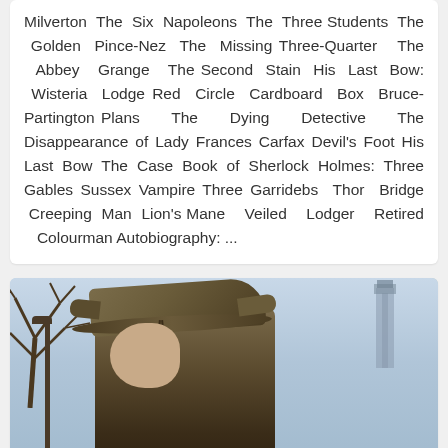Milverton The Six Napoleons The Three Students The Golden Pince-Nez The Missing Three-Quarter The Abbey Grange The Second Stain His Last Bow: Wisteria Lodge Red Circle Cardboard Box Bruce-Partington Plans The Dying Detective The Disappearance of Lady Frances Carfax Devil's Foot His Last Bow The Case Book of Sherlock Holmes: Three Gables Sussex Vampire Three Garridebs Thor Bridge Creeping Man Lion's Mane Veiled Lodger Retired Colourman Autobiography: ...
[Figure (photo): Photograph of a Sherlock Holmes figure or statue wearing a deerstalker hat, with bare winter trees on the left and a tower (resembling Big Ben) visible in the background on the right. The image has a blue-grey wintry atmosphere.]